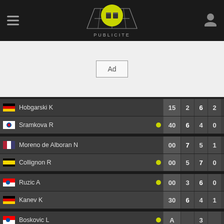[Figure (logo): TennisTemple app header with hamburger menu, tennis court logo with yellow ball, user icon, and PUBLICITE label]
[Figure (other): Ad placeholder box with text 'Ad']
| Player | Score | Set1 | Set2 | Set3 |
| --- | --- | --- | --- | --- |
| Hobgarski K | 15 | 2 | 6 | 2 |
| Sramkova R | 40 | 6 | 4 | 0 |
| Moreno de Alboran N | 00 | 7 | 5 | 1 |
| Collignon R | 00 | 5 | 7 | 0 |
| Ruzic A | 00 | 3 | 6 | 0 |
| Kanev K | 30 | 6 | 4 | 1 |
| Boskovic L | A |  | 3 |  |
194 missing translations
Please help us to translate TennisTemple